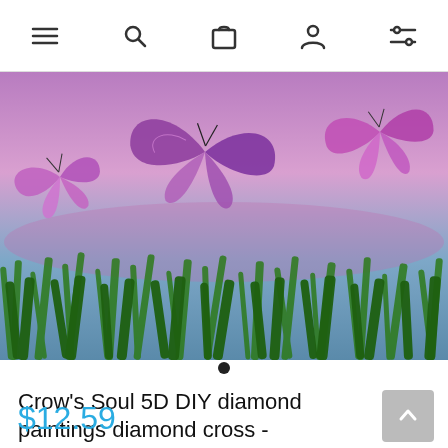navigation bar with menu, search, cart, account, filter icons
[Figure (photo): Butterflies flying over green grass with a purple/pink sunset sky background]
• (carousel indicator dot)
Crow's Soul 5D DIY diamond paintings diamond cross - embroidered diamond Butterfly snow mountain forest lake grass 40x40CM
$12.59